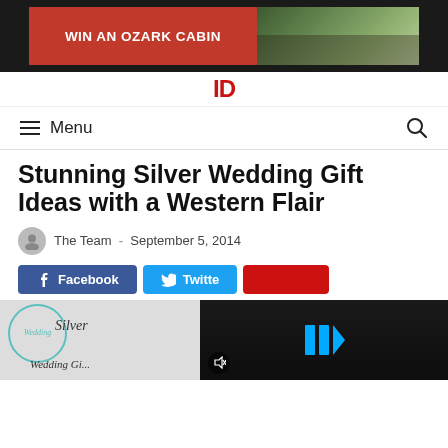[Figure (photo): Advertisement banner: WIN AN OZARK CABIN with cabin photo on dark background]
[Figure (logo): Website logo with red ID letters]
Menu
Stunning Silver Wedding Gift Ideas with a Western Flair
The Team  -  September 5, 2014
[Figure (screenshot): Share buttons: Facebook and Twitter, plus a partially visible red button and a video overlay panel with blue play icon on dark background with mute icon]
[Figure (photo): Wedding Silver Wedding Gift themed image with teal wreath logo and cursive text on the left side]